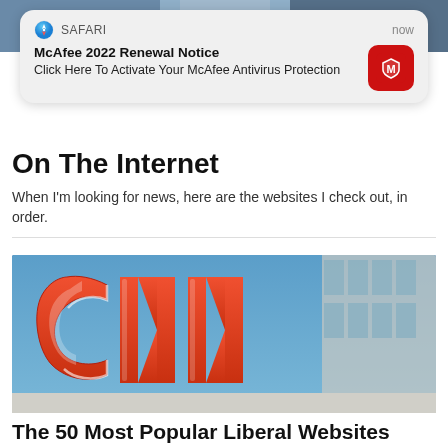[Figure (screenshot): Safari browser push notification overlay: McAfee 2022 Renewal Notice - Click Here To Activate Your McAfee Antivirus Protection, with McAfee shield icon]
On The Internet
When I'm looking for news, here are the websites I check out, in order.
[Figure (photo): Large red CNN logo sign mounted on a building exterior with blue sky background]
The 50 Most Popular Liberal Websites